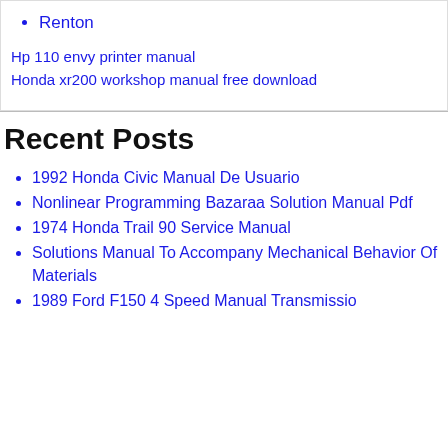Renton
Hp 110 envy printer manual
Honda xr200 workshop manual free download
Recent Posts
1992 Honda Civic Manual De Usuario
Nonlinear Programming Bazaraa Solution Manual Pdf
1974 Honda Trail 90 Service Manual
Solutions Manual To Accompany Mechanical Behavior Of Materials
1989 Ford F150 4 Speed Manual Transmission